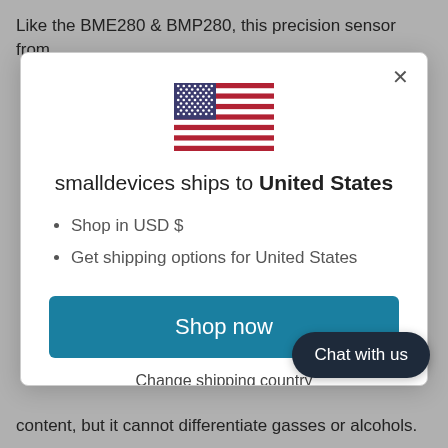Like the BME280 & BMP280, this precision sensor from
[Figure (illustration): US flag SVG illustration centered in modal]
smalldevices ships to United States
Shop in USD $
Get shipping options for United States
Shop now
Change shipping country
Chat with us
content, but it cannot differentiate gasses or alcohols.